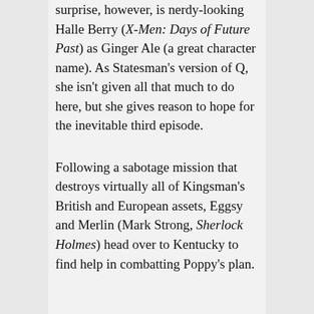surprise, however, is nerdy-looking Halle Berry (X-Men: Days of Future Past) as Ginger Ale (a great character name). As Statesman's version of Q, she isn't given all that much to do here, but she gives reason to hope for the inevitable third episode.
Following a sabotage mission that destroys virtually all of Kingsman's British and European assets, Eggsy and Merlin (Mark Strong, Sherlock Holmes) head over to Kentucky to find help in combatting Poppy's plan.